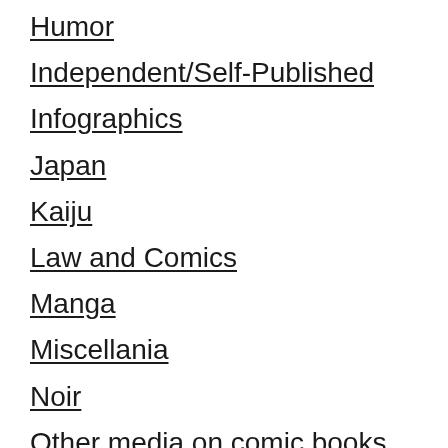Humor
Independent/Self-Published
Infographics
Japan
Kaiju
Law and Comics
Manga
Miscellania
Noir
Other media on comic books
Philippines
Politics and Comic Books
Romance